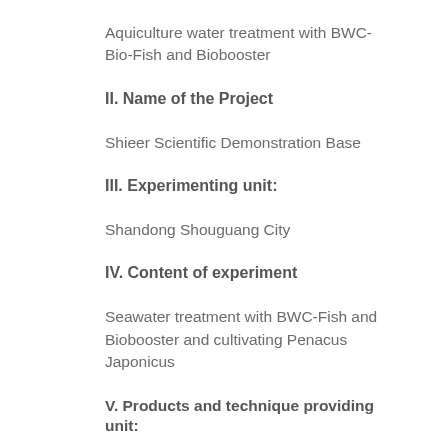Aquiculture water treatment with BWC-Bio-Fish and Biobooster
II. Name of the Project
Shieer Scientific Demonstration Base
III. Experimenting unit:
Shandong Shouguang City
IV. Content of experiment
Seawater treatment with BWC-Fish and Biobooster and cultivating Penacus Japonicus
V. Products and technique providing unit: